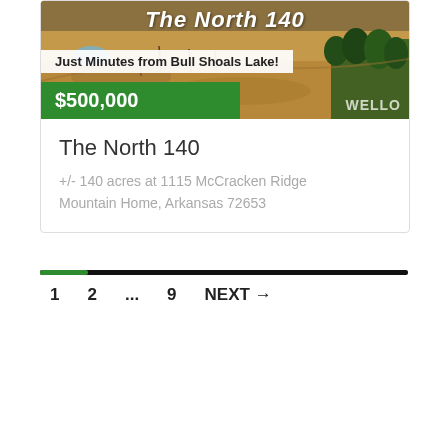[Figure (photo): Aerial/drone photo of rural land with dry grass, sparse trees, and a small pond. Overlaid text reads 'The North 140' with 'Just Minutes from Bull Shoals Lake!' banner and '$500,000' price in green band.]
The North 140
+/- 140 acres at 1115 McCracken Ridge
Mountain Home, Arkansas 72653